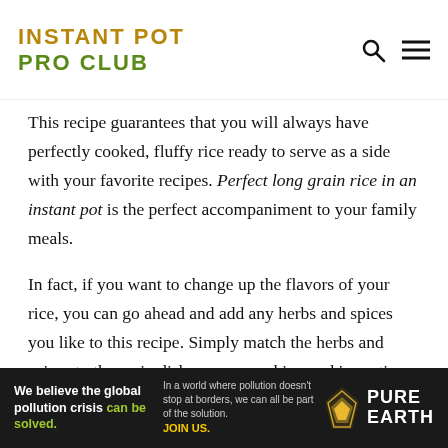INSTANT POT PRO CLUB
This recipe guarantees that you will always have perfectly cooked, fluffy rice ready to serve as a side with your favorite recipes. Perfect long grain rice in an instant pot is the perfect accompaniment to your family meals.
In fact, if you want to change up the flavors of your rice, you can go ahead and add any herbs and spices you like to this recipe. Simply match the herbs and spices to the main dish you are cooking and in no time, you will have an amazing and delicious side dish for any meal.
Can Minute Ready To Serve Rice Be Prepared On The Stove
[Figure (infographic): Pure Earth advertisement banner: 'We believe the global pollution crisis can be solved. In a world where pollution doesn't stop at borders, we can all be part of the solution. JOIN US.' with Pure Earth logo and diamond icon.]